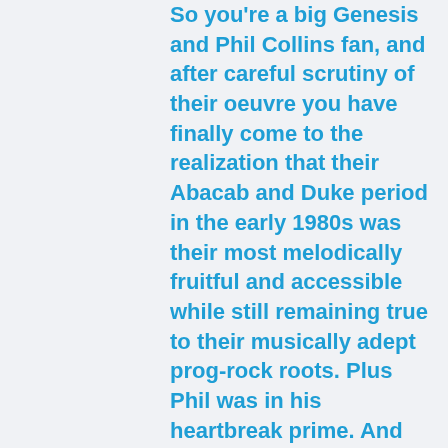So you're a big Genesis and Phil Collins fan, and after careful scrutiny of their oeuvre you have finally come to the realization that their Abacab and Duke period in the early 1980s was their most melodically fruitful and accessible while still remaining true to their musically adept prog-rock roots. Plus Phil was in his heartbreak prime. And you wish there was one more just like it.
What's an Apostle of the Book of Genesis to do? Allow me to quench your thirst with the holy water of what I like to call Duke Jr,or AbaDabra, or Abadoob if you want to get silly. AbaDuke? I just can't make up my mind. Dukacab? AbbaDoo? Sounds more like Fred Flintstone...